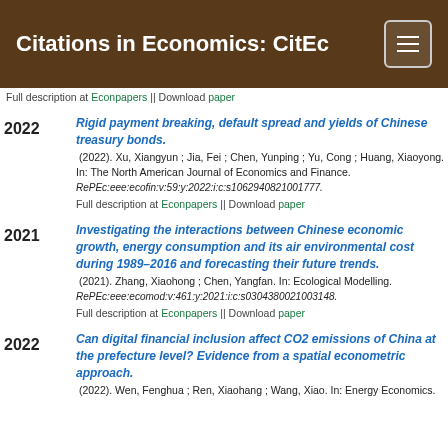Citations in Economics: CitEc
Full description at Econpapers || Download paper
Rigid payment breaking, default spread and yields of Chinese treasury bonds. (2022). Xu, Xiangyun ; Jia, Fei ; Chen, Yunping ; Yu, Cong ; Huang, Xiaoyong. In: The North American Journal of Economics and Finance. RePEc:eee:ecofin:v:59:y:2022:i:c:s1062940821001777.
Full description at Econpapers || Download paper
Investigating the interactions between Chinese economic growth, energy consumption and its air environmental cost during 1989–2016 and forecasting their future trends. (2021). Zhang, Xiaohong ; Chen, Yangfan. In: Ecological Modelling. RePEc:eee:ecomod:v:461:y:2021:i:c:s0304380021003148.
Full description at Econpapers || Download paper
Can digital financial inclusion affect CO2 emissions of China at the prefecture level? Evidence from a spatial econometric approach. (2022). Wen, Fenghua ; Ren, Xiaohang ; Wang, Xiao. In: Energy Economics.